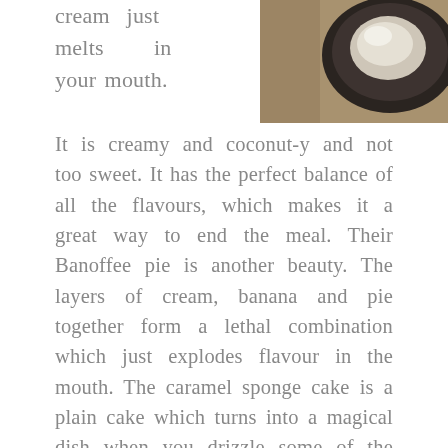cream just melts in your mouth.
[Figure (photo): Photo of a dessert dish in a dark bowl/plate, viewed from above on a wooden surface]
It is creamy and coconut-y and not too sweet. It has the perfect balance of all the flavours, which makes it a great way to end the meal. Their Banoffee pie is another beauty. The layers of cream, banana and pie together form a lethal combination which just explodes flavour in the mouth. The caramel sponge cake is a plain cake which turns into a magical dish when you drizzle some of the caramel and coffee sauce, along with ice cream. Their homemade chocolate cake is heavenly. The moment it enters the mouth, you can feel the chocolate melt. The icing on the cake is divine! Mamagoto certainly knows how to end the show on a high note. All the desserts are stunners!
[Figure (photo): Photo of dessert items with spoons and cutlery on a white background]